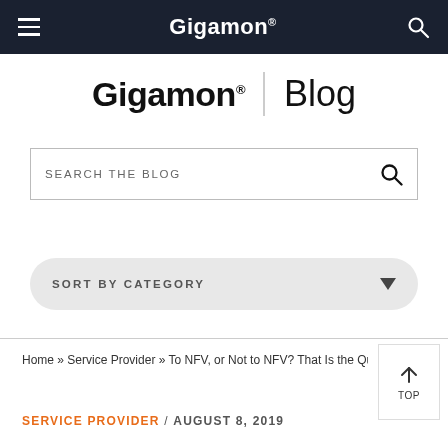Gigamon® [hamburger menu] [search icon]
Gigamon® | Blog
SEARCH THE BLOG
SORT BY CATEGORY
Home » Service Provider » To NFV, or Not to NFV? That Is the Ques...
SERVICE PROVIDER / AUGUST 8, 2019